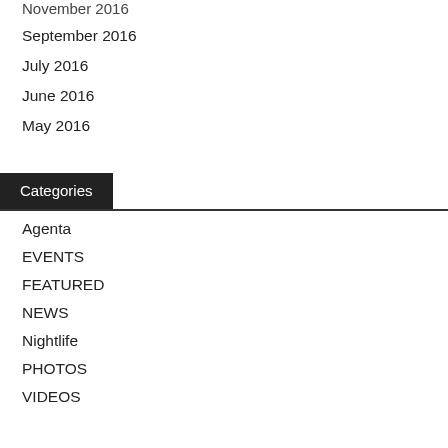November 2016
September 2016
July 2016
June 2016
May 2016
Categories
Agenta
EVENTS
FEATURED
NEWS
Nightlife
PHOTOS
VIDEOS